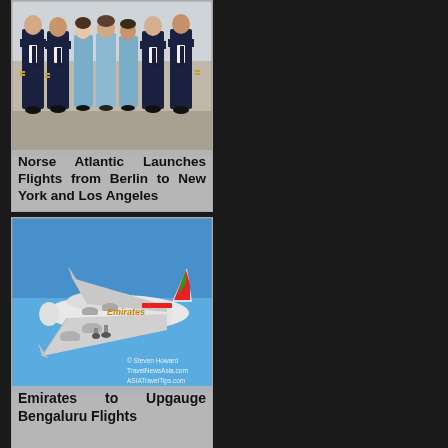[Figure (photo): Group photo of Norse Atlantic Airways crew members — pilots in dark navy uniforms on the left and right, cabin crew in light blue uniforms in the center, standing on an airport tarmac.]
Norse Atlantic Launches Flights from Berlin to New York and Los Angeles
[Figure (photo): Emirates Airbus A380 aircraft in flight against a clear blue sky, showing the Emirates livery with red, white and green tail colors. Photo credit: © Steven Howard TravelNewsAsia.com ASIATravelTips.com]
Emirates to Upgauge Bengaluru Flights